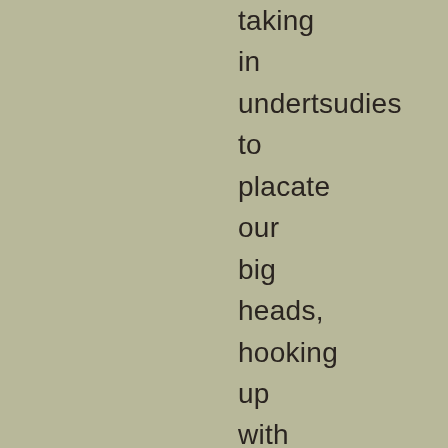taking
in
undertsudies
to
placate
our
big
heads,
hooking
up
with
groupies
to
feed
our
egos,
acting
as
if
we
are